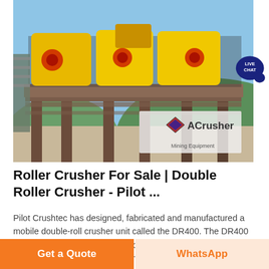[Figure (photo): Large industrial double roller crusher machine with yellow components mounted on a steel frame structure, photographed outdoors with blue sky and green hills in background. ACrusher Mining Equipment logo watermark visible in lower right of photo.]
Roller Crusher For Sale | Double Roller Crusher - Pilot ...
Pilot Crushtec has designed, fabricated and manufactured a mobile double-roll crusher unit called the DR400. The DR400 double-roll crusher is a track-mounted, self-driven, feeding, crushing and stockpiling machine for use in medium